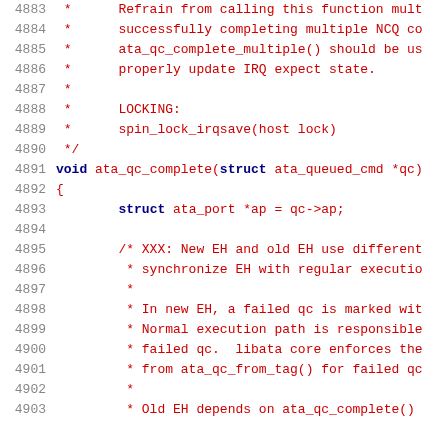Source code listing lines 4883-4903, C code for ata_qc_complete function with comments
4883  *      Refrain from calling this function mult
4884  *      successfully completing multiple NCQ co
4885  *      ata_qc_complete_multiple() should be us
4886  *      properly update IRQ expect state.
4887  *
4888  *      LOCKING:
4889  *      spin_lock_irqsave(host lock)
4890  */
4891  void ata_qc_complete(struct ata_queued_cmd *qc)
4892  {
4893          struct ata_port *ap = qc->ap;
4894
4895          /* XXX: New EH and old EH use different
4896           * synchronize EH with regular executio
4897           *
4898           * In new EH, a failed qc is marked wit
4899           * Normal execution path is responsible
4900           * failed qc.  libata core enforces the
4901           * from ata_qc_from_tag() for failed qc
4902           *
4903           * Old EH depends on ata_qc_complete()